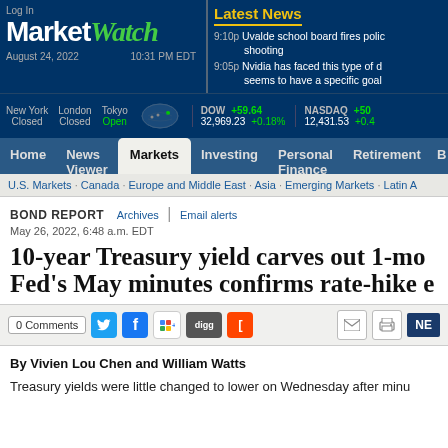Log In
MarketWatch
August 24, 2022   10:31 PM EDT
Latest News
9:10p Uvalde school board fires police chief following shooting
9:05p Nvidia has faced this type of decline before, and it seems to have a specific goal
New York Closed  London Closed  Tokyo Open  DOW +59.64  32,969.23 +0.18%  NASDAQ +50  12,431.53 +0.4
Home  News Viewer  Markets  Investing  Personal Finance  Retirement
U.S. Markets · Canada · Europe and Middle East · Asia · Emerging Markets · Latin A
BOND REPORT  Archives | Email alerts
May 26, 2022, 6:48 a.m. EDT
10-year Treasury yield carves out 1-mo Fed's May minutes confirms rate-hike e
By Vivien Lou Chen and William Watts
Treasury yields were little changed to lower on Wednesday after minu